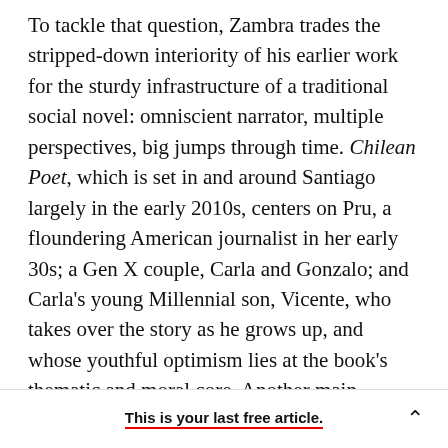To tackle that question, Zambra trades the stripped-down interiority of his earlier work for the sturdy infrastructure of a traditional social novel: omniscient narrator, multiple perspectives, big jumps through time. Chilean Poet, which is set in and around Santiago largely in the early 2010s, centers on Pru, a floundering American journalist in her early 30s; a Gen X couple, Carla and Gonzalo; and Carla's young Millennial son, Vicente, who takes over the story as he grows up, and whose youthful optimism lies at the book's thematic and moral core. Another main character might be the Chilean poets of Zambra's title; a
This is your last free article.